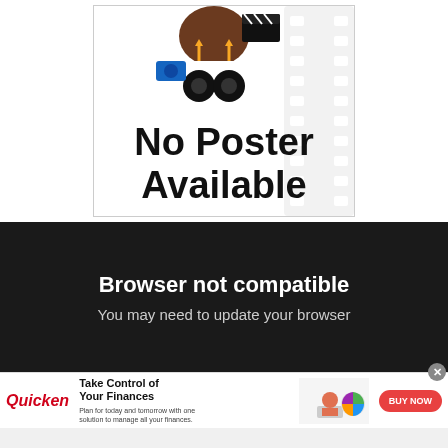[Figure (illustration): No Poster Available placeholder image with cartoon film director character and film strip background. Large bold text reads 'No Poster Available'.]
Browser not compatible
You may need to update your browser
[Figure (infographic): Quicken advertisement banner: 'Take Control of Your Finances' with a woman working at a laptop, a pie chart graphic, and a red 'BUY NOW' button. Tagline: 'Plan for today and tomorrow with one solution to manage all your finances.']